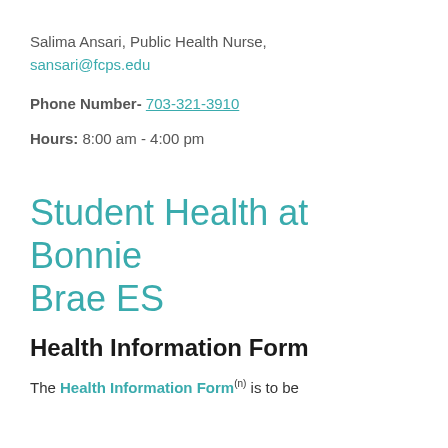Salima Ansari, Public Health Nurse, sansari@fcps.edu
Phone Number- 703-321-3910
Hours: 8:00 am - 4:00 pm
Student Health at Bonnie Brae ES
Health Information Form
The Health Information Form(n) is to be